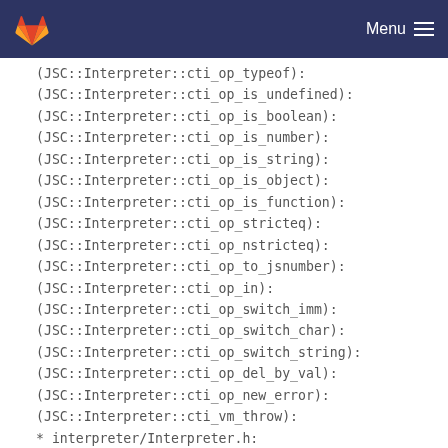Menu
(JSC::Interpreter::cti_op_typeof):
(JSC::Interpreter::cti_op_is_undefined):
(JSC::Interpreter::cti_op_is_boolean):
(JSC::Interpreter::cti_op_is_number):
(JSC::Interpreter::cti_op_is_string):
(JSC::Interpreter::cti_op_is_object):
(JSC::Interpreter::cti_op_is_function):
(JSC::Interpreter::cti_op_stricteq):
(JSC::Interpreter::cti_op_nstricteq):
(JSC::Interpreter::cti_op_to_jsnumber):
(JSC::Interpreter::cti_op_in):
(JSC::Interpreter::cti_op_switch_imm):
(JSC::Interpreter::cti_op_switch_char):
(JSC::Interpreter::cti_op_switch_string):
(JSC::Interpreter::cti_op_del_by_val):
(JSC::Interpreter::cti_op_new_error):
(JSC::Interpreter::cti_vm_throw):
* interpreter/Interpreter.h:
(JSC::Interpreter::isJSArray):
(JSC::Interpreter::isJSString):
* interpreter/Register.h: